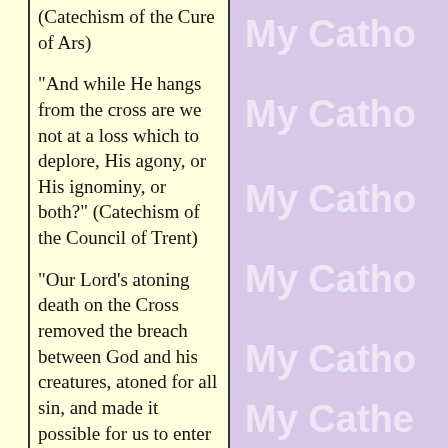(Catechism of the Cure of Ars)
"And while He hangs from the cross are we not at a loss which to deplore, His agony, or His ignominy, or both?" (Catechism of the Council of Trent)
"Our Lord's atoning death on the Cross removed the breach between God and his creatures, atoned for all sin, and made it possible for us to enter heaven."
"The Mass is the same sacrifice as the sacrifice of the cross because in the Mass the victim is the same, and the principal